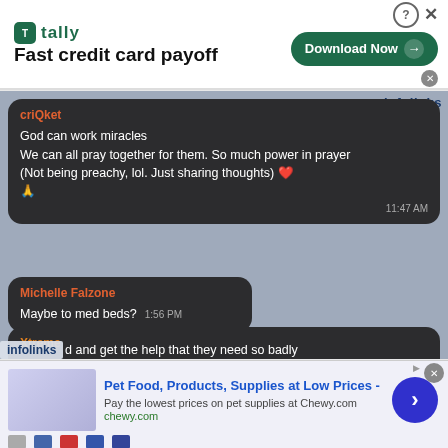[Figure (screenshot): Tally app advertisement banner: 'Fast credit card payoff' with Download Now button]
[Figure (screenshot): Social media chat screenshot with messages from criQket, Michelle Falzone, Xtreme, and Melissa Reeves about prayer, med beds treatment]
[Figure (screenshot): Chewy.com advertisement: Pet Food, Products, Supplies at Low Prices]